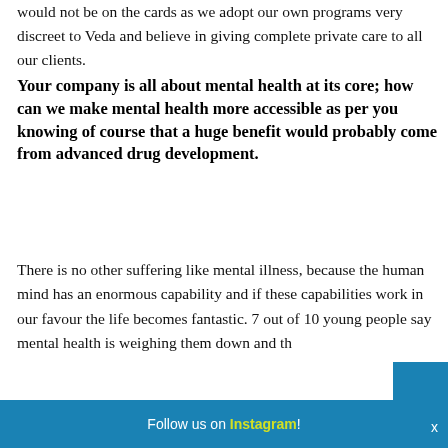would not be on the cards as we adopt our own programs very discreet to Veda and believe in giving complete private care to all our clients.
Your company is all about mental health at its core; how can we make mental health more accessible as per you knowing of course that a huge benefit would probably come from advanced drug development.
There is no other suffering like mental illness, because the human mind has an enormous capability and if these capabilities work in our favour the life becomes fantastic. 7 out of 10 young people say mental health is weighing them down and th…
Follow us on Instagram!